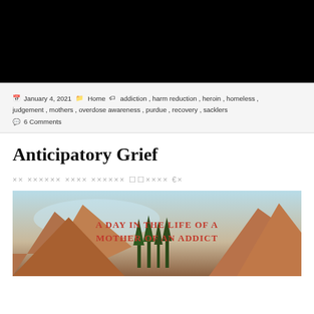[Figure (photo): Black banner/header image at top of blog page]
January 4, 2021  Home  addiction, harm reduction, heroin, homeless, judgement, mothers, overdose awareness, purdue, recovery, sacklers  6 Comments
Anticipatory Grief
×× ×××××× ×××× ×××××× ☐☐×××× €×
[Figure (photo): Blog featured image with mountains and red script text reading 'A Day in the Life of a Mother of an Addict']